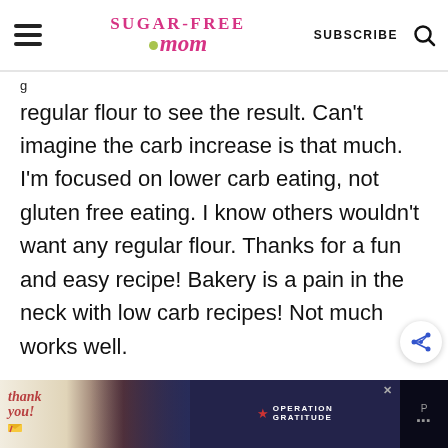Sugar-Free Mom — SUBSCRIBE
regular flour to see the result. Can't imagine the carb increase is that much. I'm focused on lower carb eating, not gluten free eating. I know others wouldn't want any regular flour. Thanks for a fun and easy recipe! Bakery is a pain in the neck with low carb recipes! Not much works well.
[Figure (screenshot): Advertisement banner at the bottom of the page showing a 'Thank you' message with Operation Gratitude branding and firefighters in the background.]